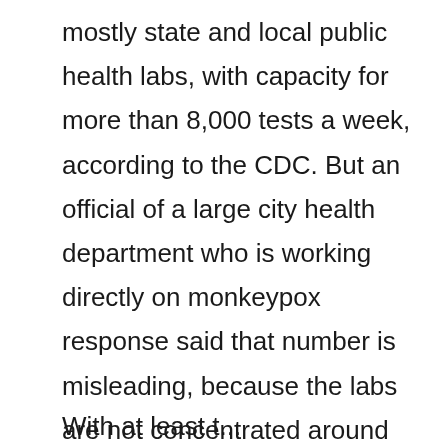mostly state and local public health labs, with capacity for more than 8,000 tests a week, according to the CDC. But an official of a large city health department who is working directly on monkeypox response said that number is misleading, because the labs are not concentrated around the major metropolitan areas where the bulk of infections are detected.
With at least...